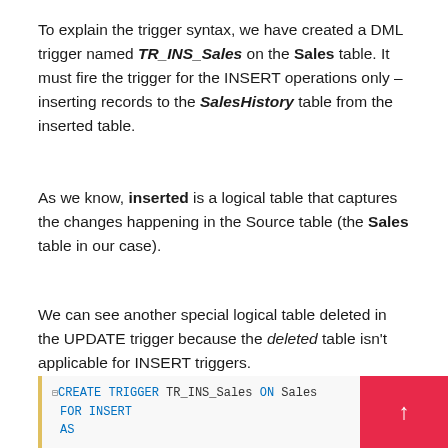To explain the trigger syntax, we have created a DML trigger named TR_INS_Sales on the Sales table. It must fire the trigger for the INSERT operations only – inserting records to the SalesHistory table from the inserted table.
As we know, inserted is a logical table that captures the changes happening in the Source table (the Sales table in our case).
We can see another special logical table deleted in the UPDATE trigger because the deleted table isn't applicable for INSERT triggers.
[Figure (screenshot): Code snippet showing SQL CREATE TRIGGER TR_INS_Sales ON Sales FOR INSERT AS, with a pink/red navigation button on the right]